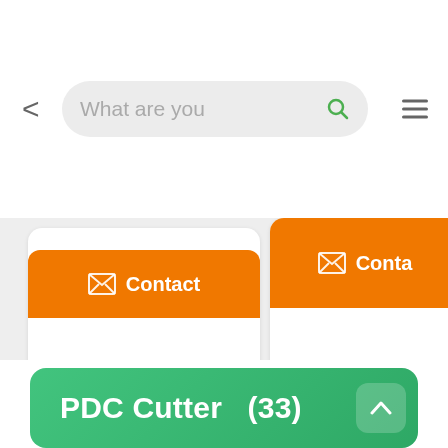[Figure (screenshot): Mobile app search bar UI with back arrow, search input field reading 'What are you', magnifier icon, and hamburger menu icon]
[Figure (screenshot): Two orange 'Contact' buttons with envelope icons on white cards, partially visible, with faint watermark text below]
[Figure (screenshot): Green rounded section header button labeled 'PDC Cutter (33)' with upward chevron arrow on the right]